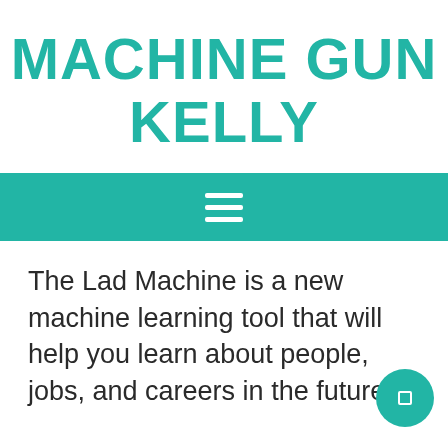MACHINE GUN KELLY
[Figure (screenshot): Teal navigation bar with white hamburger menu icon (three horizontal lines)]
The Lad Machine is a new machine learning tool that will help you learn about people, jobs, and careers in the future